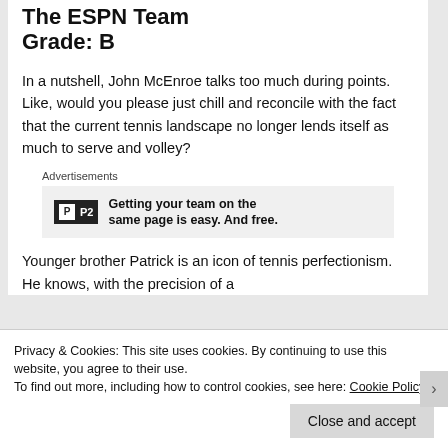The ESPN Team
Grade: B
In a nutshell, John McEnroe talks too much during points. Like, would you please just chill and reconcile with the fact that the current tennis landscape no longer lends itself as much to serve and volley?
[Figure (other): Advertisement box with P2 logo and text: Getting your team on the same page is easy. And free.]
Younger brother Patrick is an icon of tennis perfectionism. He knows, with the precision of a
Privacy & Cookies: This site uses cookies. By continuing to use this website, you agree to their use.
To find out more, including how to control cookies, see here: Cookie Policy